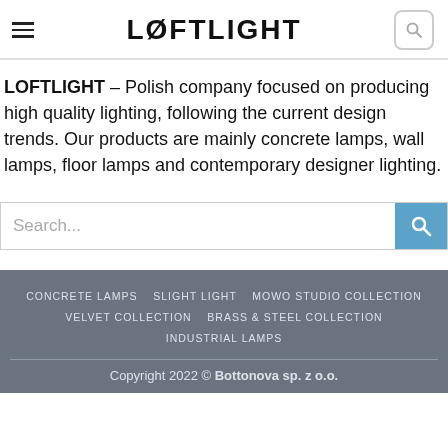LØFTLIGHT
LOFTLIGHT – Polish company focused on producing high quality lighting, following the current design trends. Our products are mainly concrete lamps, wall lamps, floor lamps and contemporary designer lighting.
CONCRETE LAMPS   SLIGHT LIGHT   MOWO STUDIO COLLECTION   VELVET COLLECTION   BRASS & STEEL COLLECTION   INDUSTRIAL LAMPS
Copyright 2022 © Bottonova sp. z o.o.